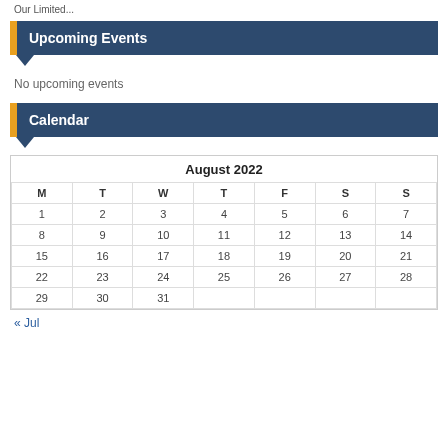Our Limited...
Upcoming Events
No upcoming events
Calendar
| M | T | W | T | F | S | S |
| --- | --- | --- | --- | --- | --- | --- |
| 1 | 2 | 3 | 4 | 5 | 6 | 7 |
| 8 | 9 | 10 | 11 | 12 | 13 | 14 |
| 15 | 16 | 17 | 18 | 19 | 20 | 21 |
| 22 | 23 | 24 | 25 | 26 | 27 | 28 |
| 29 | 30 | 31 |  |  |  |  |
« Jul